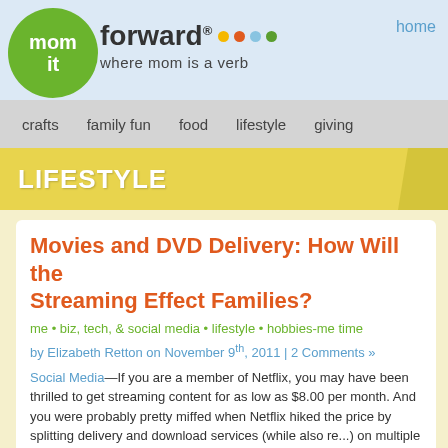mom it forward® where mom is a verb — home
LIFESTYLE
Movies and DVD Delivery: How Will the Streaming Effect Families?
me • biz, tech, & social media • lifestyle • hobbies-me time
by Elizabeth Retton on November 9th, 2011 | 2 Comments »
Social Media—If you are a member of Netflix, you may have been thrilled to get streaming content for as low as $8.00 per month. And you were probably pretty miffed when Netflix hiked the price by splitting delivery and download services (while also re...) on multiple devices).